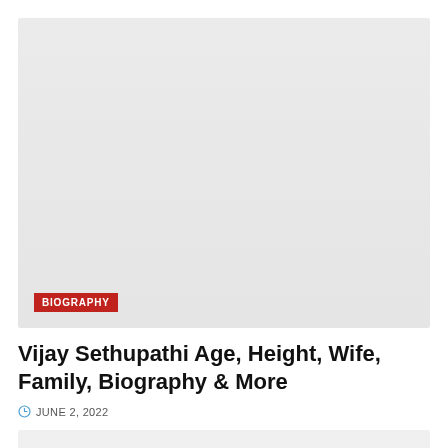[Figure (photo): Large image placeholder with light gray background, biography tag overlay at bottom left]
Vijay Sethupathi Age, Height, Wife, Family, Biography & More
JUNE 2, 2022